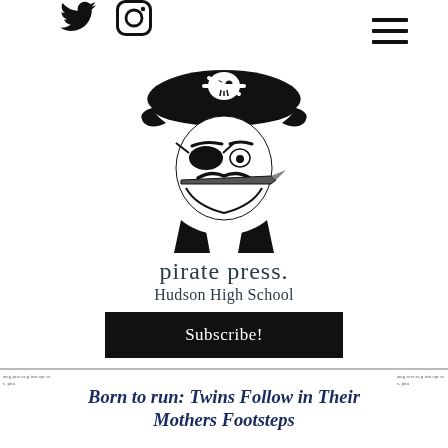Twitter and Instagram social icons; hamburger menu
[Figure (illustration): Black and white illustration of a pirate face wearing a tricorn hat with skull and crossbones, eye patch, mustache, and holding a cutlass in his mouth]
pirate press.
Hudson High School
Subscribe!
Born to run: Twins Follow in Their Mothers Footsteps